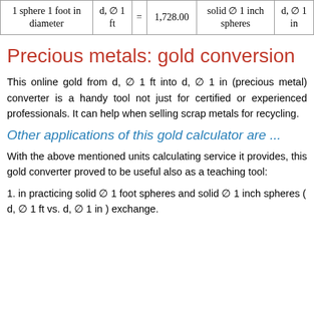| 1 sphere 1 foot in diameter | d, ∅ 1 ft | = | 1,728.00 | solid ∅ 1 inch spheres | d, ∅ 1 in |
| --- | --- | --- | --- | --- | --- |
Precious metals: gold conversion
This online gold from d, ∅ 1 ft into d, ∅ 1 in (precious metal) converter is a handy tool not just for certified or experienced professionals. It can help when selling scrap metals for recycling.
Other applications of this gold calculator are ...
With the above mentioned units calculating service it provides, this gold converter proved to be useful also as a teaching tool:
1. in practicing solid ∅ 1 foot spheres and solid ∅ 1 inch spheres ( d, ∅ 1 ft vs. d, ∅ 1 in ) exchange.